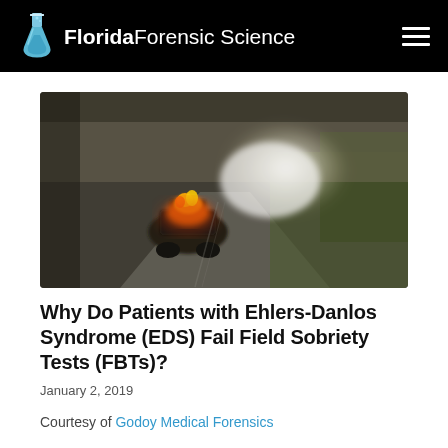Florida Forensic Science
[Figure (photo): Blurred photo of a car on a road at night with orange flames or bright lights visible, motion blur effect giving a dramatic look]
Why Do Patients with Ehlers-Danlos Syndrome (EDS) Fail Field Sobriety Tests (FBTs)?
January 2, 2019
Courtesy of Godoy Medical Forensics